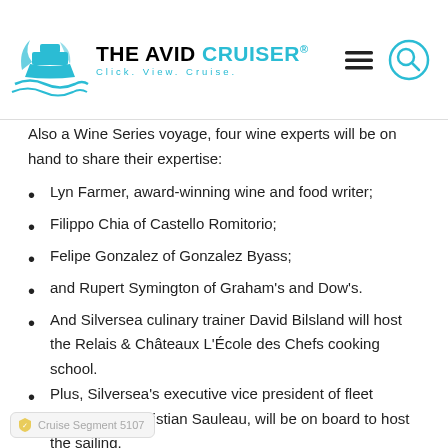THE AVID CRUISER® — Click. View. Cruise.
Also a Wine Series voyage, four wine experts will be on hand to share their expertise:
Lyn Farmer, award-winning wine and food writer;
Filippo Chia of Castello Romitorio;
Felipe Gonzalez of Gonzalez Byass;
and Rupert Symington of Graham's and Dow's.
And Silversea culinary trainer David Bilsland will host the Relais & Châteaux L'École des Chefs cooking school.
Plus, Silversea's executive vice president of fleet operations, Christian Sauleau, will be on board to host the sailing.
In addition to previously announced luminaries such as Emmy Award-winning broadcast journalist Dan Rather (hosting Silver Spirit World Cruise Segment 5107), bestselling suspense novelist Mary Higgins Clark